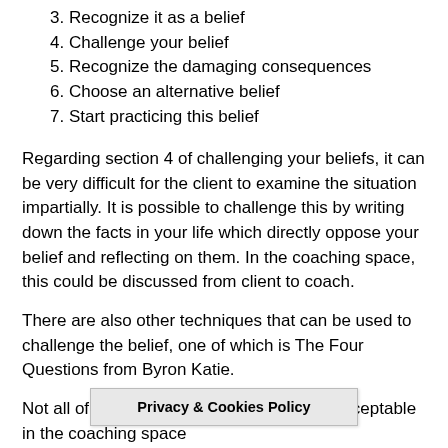3. Recognize it as a belief
4. Challenge your belief
5. Recognize the damaging consequences
6. Choose an alternative belief
7. Start practicing this belief
Regarding section 4 of challenging your beliefs, it can be very difficult for the client to examine the situation impartially. It is possible to challenge this by writing down the facts in your life which directly oppose your belief and reflecting on them. In the coaching space, this could be discussed from client to coach.
There are also other techniques that can be used to challenge the belief, one of which is The Four Questions from Byron Katie.
Not all of these questions are regarded as acceptable in the coaching space a... questions
Privacy & Cookies Policy